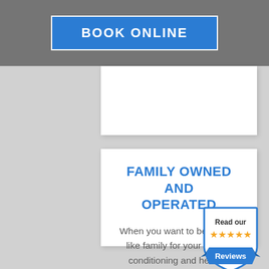BOOK ONLINE
FAMILY OWNED AND OPERATED
When you want to be treated like family for your central conditioning and heating needs there is no better company to turn to than ACE Comfort.
[Figure (illustration): Shield badge with 'Read our' text, five yellow stars, and 'Reviews' on a blue ribbon banner]